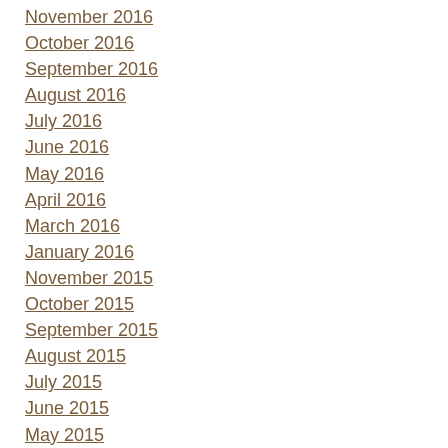November 2016
October 2016
September 2016
August 2016
July 2016
June 2016
May 2016
April 2016
March 2016
January 2016
November 2015
October 2015
September 2015
August 2015
July 2015
June 2015
May 2015
April 2015
March 2015